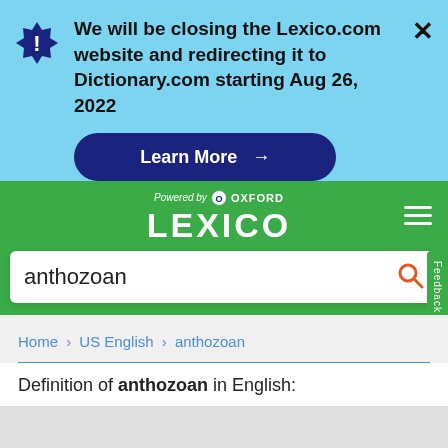We will be closing the Lexico.com website and redirecting it to Dictionary.com starting Aug 26, 2022
Learn More →
[Figure (logo): Lexico powered by Oxford logo on green header]
anthozoan
Home › US English › anthozoan
Definition of anthozoan in English: